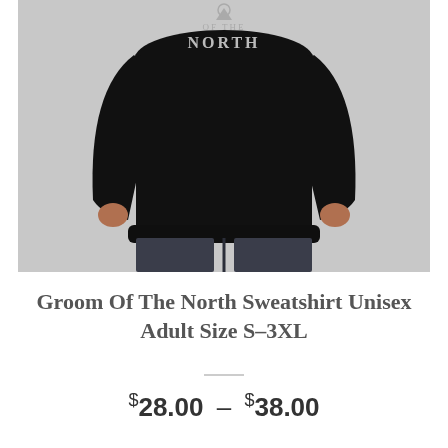[Figure (photo): Person wearing a black sweatshirt with 'Groom Of The North' text and direwolf graphic on the chest, paired with dark grey trousers. Only the torso and hands are visible against a white/light grey background.]
Groom Of The North Sweatshirt Unisex Adult Size S–3XL
$28.00 – $38.00